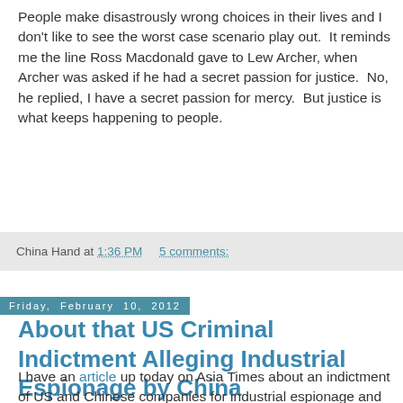People make disastrously wrong choices in their lives and I don't like to see the worst case scenario play out.  It reminds me the line Ross Macdonald gave to Lew Archer, when Archer was asked if he had a secret passion for justice.  No, he replied, I have a secret passion for mercy.  But justice is what keeps happening to people.
China Hand at 1:36 PM    5 comments:
Friday, February 10, 2012
About that US Criminal Indictment Alleging Industrial Espionage by China
I have an article up today on Asia Times about an indictment of US and Chinese companies for industrial espionage and theft of DuPont's trade secrets for the manufacture of titanium dioxide.